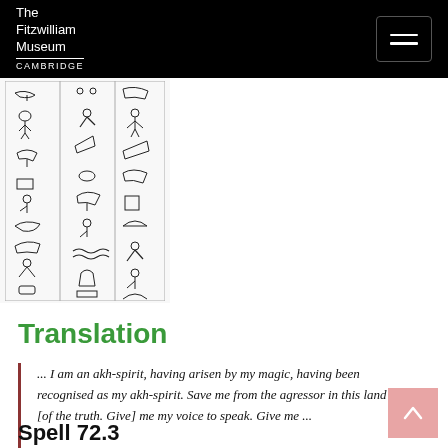The Fitzwilliam Museum CAMBRIDGE
[Figure (photo): Hieroglyphic script arranged in three vertical columns on a white/off-white background, showing various Egyptian hieroglyph symbols including birds, human figures, geometric shapes, and other traditional hieroglyphic characters.]
Translation
... I am an akh-spirit, having arisen by my magic, having been recognised as my akh-spirit. Save me from the agressor in this land [of the truth. Give] me my voice to speak. Give me ...
Spell 72.3